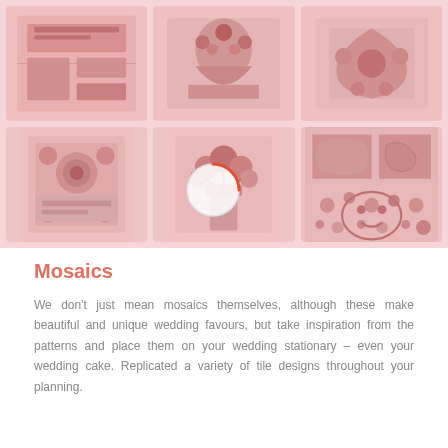[Figure (illustration): A 3x2 grid of mosaic/craft product images on a pink/rose background, showing various illustrated tile and mosaic designs. A loading spinner circle is overlaid in the center-bottom area.]
Mosaics
We don't just mean mosaics themselves, although these make beautiful and unique wedding favours, but take inspiration from the patterns and place them on your wedding stationary – even your wedding cake. Replicated a variety of tile designs throughout your planning.